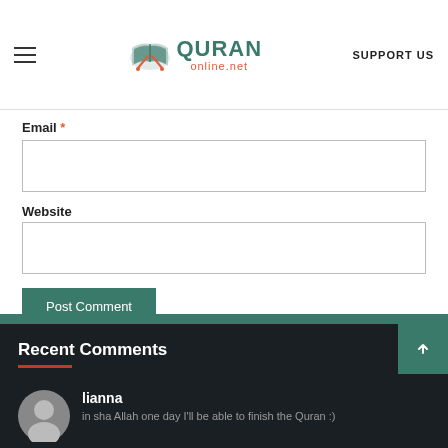QURAN online.net | SUPPORT US
Email *
Website
Post Comment
Recent Comments
lianna
in sha Allah one day I'll be able to finish the Quran :)